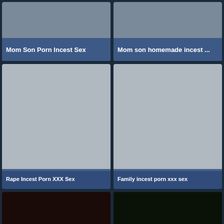[Figure (screenshot): Video thumbnail with label 'Mom Son Porn Incest Sex']
[Figure (screenshot): Video thumbnail with label 'Mom son homemade incest ...']
[Figure (screenshot): Gray placeholder thumbnail with label 'Rape Incest Porn XXX Sex']
[Figure (screenshot): Gray placeholder thumbnail with label 'Family incest porn xxx sex']
[Figure (screenshot): Video thumbnail bottom left with notification popup: 'Mary (21) sent you a video ▶ Watch']
[Figure (screenshot): Video thumbnail bottom right]